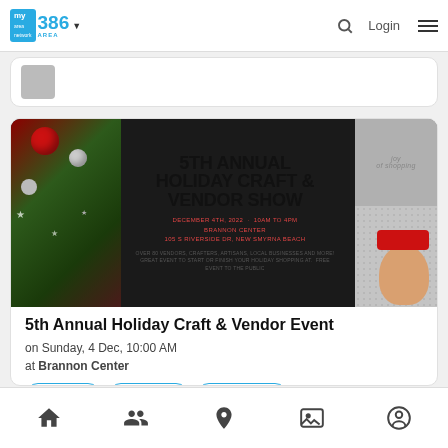my area network | 386 AREA | Search | Login | Menu
[Figure (photo): 5th Annual Holiday Craft & Vendor Show promotional banner. December 4th, 2022, 10AM to 4PM, Brannon Center, 105 S Riverside Dr, New Smyrna Beach. Over 80 vendors, crafters, artisans, local businesses and more! Great event to start or finish your holiday shopping at. Free event to the public. Decorated with Christmas ornaments and pine branches on left, a girl wearing Santa hat on right.]
5th Annual Holiday Craft & Vendor Event
on Sunday, 4 Dec, 10:00 AM
at Brannon Center
+ Attending
★ Interested
🏷 Find Tickets
Home | People | Location | Gallery | Profile